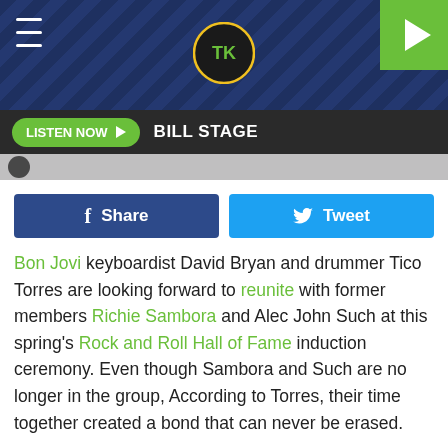[Figure (screenshot): Website header banner with dark blue diamond-plate texture background, a circular logo in the center, hamburger menu icon on left, and green play button on top right]
LISTEN NOW ▶  BILL STAGE
[Figure (photo): Small thumbnail image partially visible at bottom of header strip]
f Share   🐦 Tweet
Bon Jovi keyboardist David Bryan and drummer Tico Torres are looking forward to reunite with former members Richie Sambora and Alec John Such at this spring's Rock and Roll Hall of Fame induction ceremony. Even though Sambora and Such are no longer in the group, According to Torres, their time together created a bond that can never be erased.

"[S]peaking to Alec on the phone, it was wonderful," he said in a conference call to promote their upcoming tour (via Billboard). "We took that journey together at certain times as